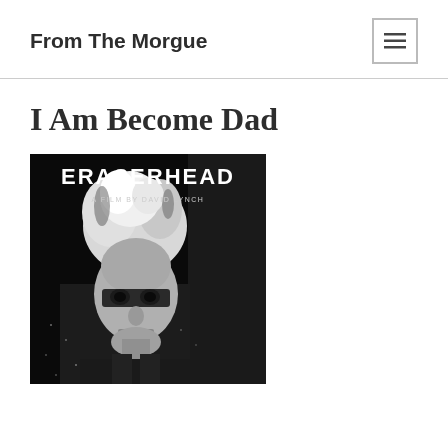From The Morgue
I Am Become Dad
[Figure (photo): Black and white movie poster for Eraserhead, A Film by David Lynch, showing a man with wild hair against a dark background]